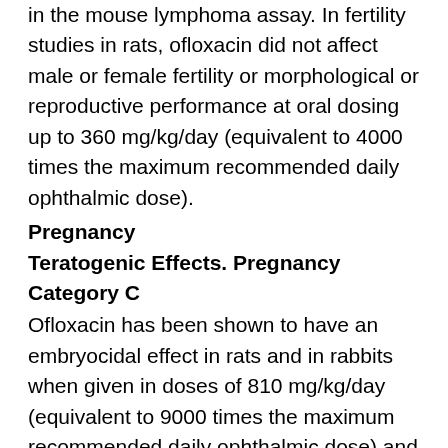in the mouse lymphoma assay. In fertility studies in rats, ofloxacin did not affect male or female fertility or morphological or reproductive performance at oral dosing up to 360 mg/kg/day (equivalent to 4000 times the maximum recommended daily ophthalmic dose).
Pregnancy
Teratogenic Effects. Pregnancy Category C
Ofloxacin has been shown to have an embryocidal effect in rats and in rabbits when given in doses of 810 mg/kg/day (equivalent to 9000 times the maximum recommended daily ophthalmic dose) and 160 mg/kg/ day (equivalent to 1800 times the maximum recommended daily ophthalmic dose). These dosages resulted in decreased fetal body weight and increased fetal mortality in rats and rabbits, respectively. Minor skeletal variations were observed in the fetuses of rats.